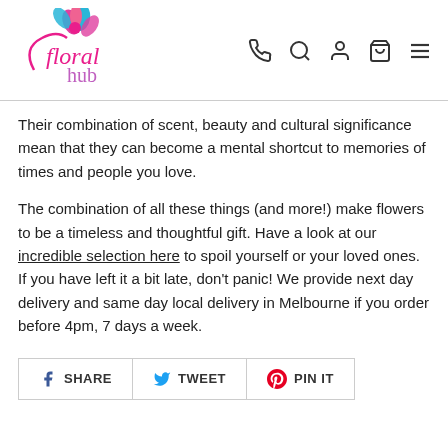[Figure (logo): Floral Hub logo with pink and blue flower and stylized text]
Their combination of scent, beauty and cultural significance mean that they can become a mental shortcut to memories of times and people you love.
The combination of all these things (and more!) make flowers to be a timeless and thoughtful gift. Have a look at our incredible selection here to spoil yourself or your loved ones. If you have left it a bit late, don't panic! We provide next day delivery and same day local delivery in Melbourne if you order before 4pm, 7 days a week.
SHARE  TWEET  PIN IT